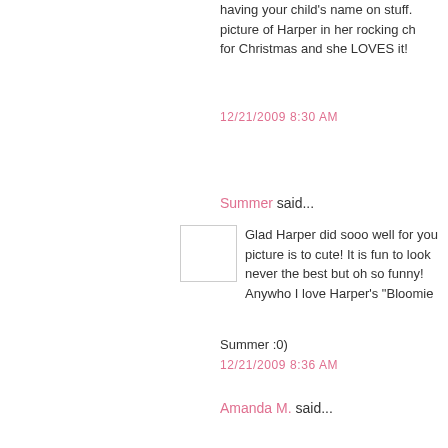having your child's name on stuff. picture of Harper in her rocking ch for Christmas and she LOVES it!
12/21/2009 8:30 AM
Summer said...
Glad Harper did sooo well for you picture is to cute! It is fun to look never the best but oh so funny! Anywho I love Harper's "Bloomie Summer :0)
12/21/2009 8:36 AM
Amanda M. said...
Oh my goodness, Kelly! I think yo said the same thing. hehe. Harper is SO pretty! I love those l she's about 5! I love bloomers! SC
12/21/2009 8:40 AM